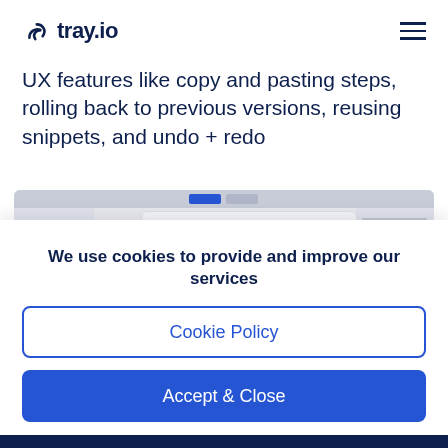tray.io
UX features like copy and pasting steps, rolling back to previous versions, reusing snippets, and undo + redo
[Figure (screenshot): Screenshot of tray.io product device request form UI showing a modal dialog with form fields and activity log]
We use cookies to provide and improve our services
Cookie Policy
Accept & Close